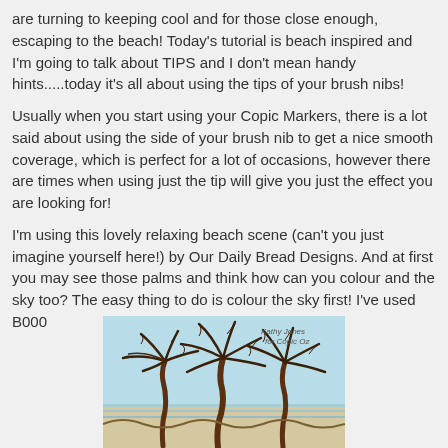are turning to keeping cool and for those close enough, escaping to the beach!  Today's tutorial is beach inspired and I'm going to talk about TIPS and I don't mean handy hints.....today it's all about using the tips of your brush nibs!
Usually when you start using your Copic Markers, there is a lot said about using the side of your brush nib to get a nice smooth coverage, which is perfect for a lot of occasions, however there are times when using just the tip will give you just the effect you are looking for!
I'm using this lovely relaxing beach scene (can't you just imagine yourself here!) by Our Daily Bread Designs.  And at first you may see those palms and think how can you colour and the sky too?  The easy thing to do is colour the sky first! I've used B000
[Figure (illustration): A beach scene illustration showing three palm trees with brown trunks and leafy canopies against a light blue sky background, with a waterline at the bottom. Text in the upper right reads 'Kathy Jones for Copic Oz'.]